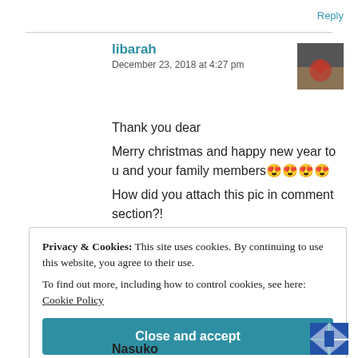Reply
libarah
December 23, 2018 at 4:27 pm
Thank you dear
Merry christmas and happy new year to u and your family members😍😍😍😍
How did you attach this pic in comment section?!
Privacy & Cookies: This site uses cookies. By continuing to use this website, you agree to their use.
To find out more, including how to control cookies, see here: Cookie Policy
Close and accept
Nasuko